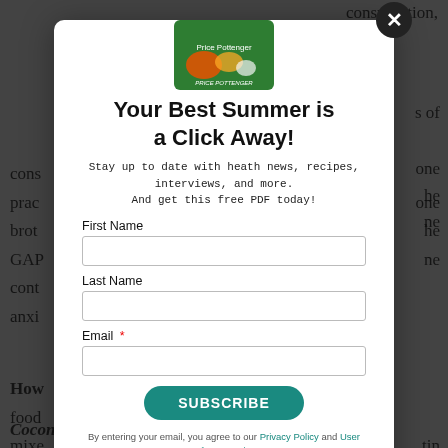consumption,
cons prac brot GAP cont anx
How food mixe of o tabl (gre and
Coconut oil
[Figure (screenshot): Modal popup overlay with Price Pottenger logo (food image with salmon), title 'Your Best Summer is a Click Away!', subtitle text, form fields for First Name, Last Name, Email, a Subscribe button, and a privacy footer. A close button (X) is in the top right of the modal. Background shows partially visible article text.]
Your Best Summer is a Click Away!
Stay up to date with heath news, recipes, interviews, and more. And get this free PDF today!
First Name
Last Name
Email *
SUBSCRIBE
By entering your email, you agree to our Privacy Policy and User Agreement.